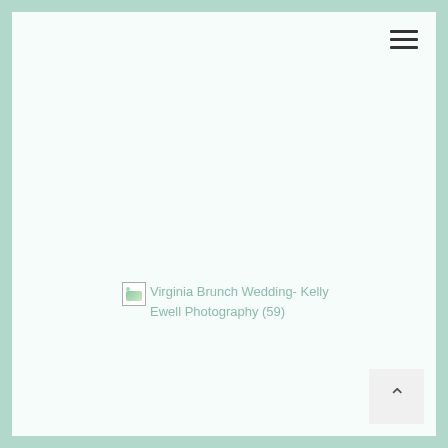[Figure (other): Hamburger menu icon with three horizontal dark lines in top-right corner]
[Figure (other): Broken image placeholder with alt text: Virginia Brunch Wedding- Kelly Ewell Photography (59)]
[Figure (other): Back to top button with upward caret arrow in bottom-right corner]